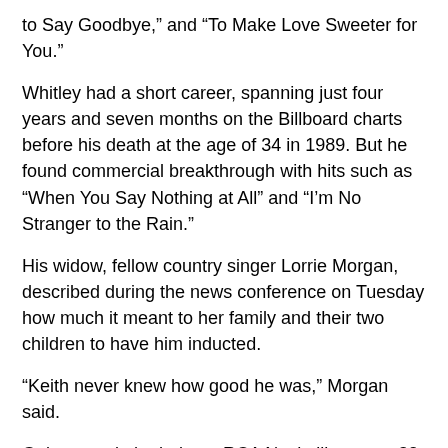to Say Goodbye,” and “To Make Love Sweeter for You.”
Whitley had a short career, spanning just four years and seven months on the Billboard charts before his death at the age of 34 in 1989. But he found commercial breakthrough with hits such as “When You Say Nothing at All” and “I’m No Stranger to the Rain.”
His widow, fellow country singer Lorrie Morgan, described during the news conference on Tuesday how much it meant to her family and their two children to have him inducted.
“Keith never knew how good he was,” Morgan said.
Galante took the helm at RCA Nashville at age 32, the youngest person to ever lead a major label’s Nashville division. He would go on to sign artists such as Clint Black, Kenny Chesney, Lorrie Morgan and Keith Whitley, Vince Gill, The Judds and Martina McBride.